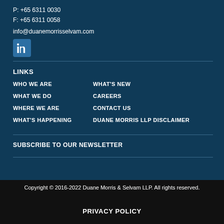P: +65 6311 0030
F: +65 6311 0058
info@duanemorrisselvam.com
[Figure (logo): LinkedIn icon in blue square]
LINKS
WHO WE ARE
WHAT'S NEW
WHAT WE DO
CAREERS
WHERE WE ARE
CONTACT US
WHAT'S HAPPENING
DUANE MORRIS LLP DISCLAIMER
SUBSCRIBE TO OUR NEWSLETTER
Copyright © 2016-2022 Duane Morris & Selvam LLP. All rights reserved.
PRIVACY POLICY